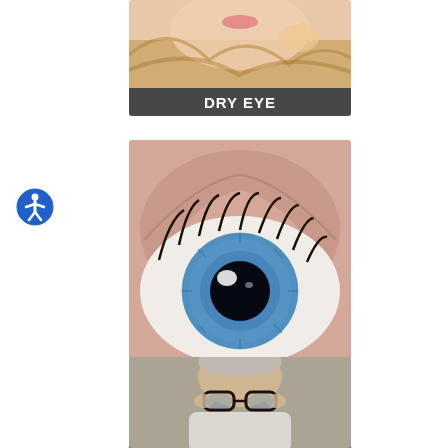[Figure (photo): Woman with blonde hair touching her face/neck, representing dry eye condition, with label 'DRY EYE' overlaid at bottom]
[Figure (photo): Close-up of a blue human eye with detailed iris and eyelashes, representing eye disease, with label 'EYE DISEASE' overlaid at bottom]
[Figure (photo): Elderly person adjusting glasses, partially visible, representing vision/eye condition]
[Figure (illustration): Accessibility icon — blue circle with white human figure with outstretched arms]